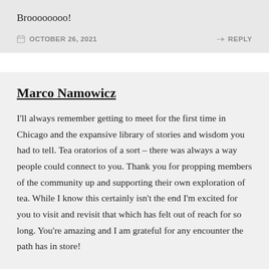Broooooooo!
OCTOBER 26, 2021    REPLY
Marco Namowicz
I'll always remember getting to meet for the first time in Chicago and the expansive library of stories and wisdom you had to tell. Tea oratorios of a sort – there was always a way people could connect to you. Thank you for propping members of the community up and supporting their own exploration of tea. While I know this certainly isn't the end I'm excited for you to visit and revisit that which has felt out of reach for so long. You're amazing and I am grateful for any encounter the path has in store!